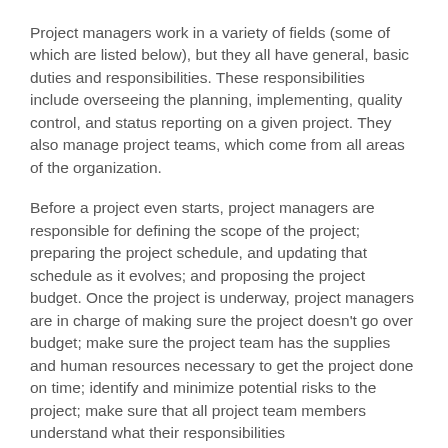Project managers work in a variety of fields (some of which are listed below), but they all have general, basic duties and responsibilities. These responsibilities include overseeing the planning, implementing, quality control, and status reporting on a given project. They also manage project teams, which come from all areas of the organization.
Before a project even starts, project managers are responsible for defining the scope of the project; preparing the project schedule, and updating that schedule as it evolves; and proposing the project budget. Once the project is underway, project managers are in charge of making sure the project doesn't go over budget; make sure the project team has the supplies and human resources necessary to get the project done on time; identify and minimize potential risks to the project; make sure that all project team members understand what their responsibilities